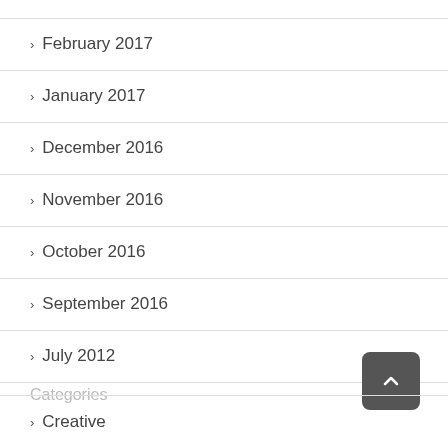February 2017
January 2017
December 2016
November 2016
October 2016
September 2016
July 2012
Categories
Creative